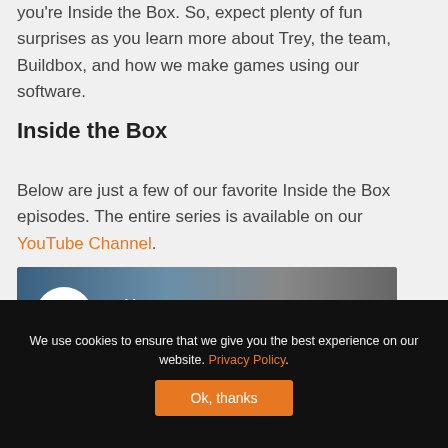you're Inside the Box. So, expect plenty of fun surprises as you learn more about Trey, the team, Buildbox, and how we make games using our software.
Inside the Box
Below are just a few of our favorite Inside the Box episodes. The entire series is available on our YouTube Channel.
[Figure (screenshot): YouTube video thumbnail showing Buildbox logo and title 'Making Games as a ...' with a person's face and mobile devices visible in background]
We use cookies to ensure that we give you the best experience on our website. Privacy Policy. Ok, thanks